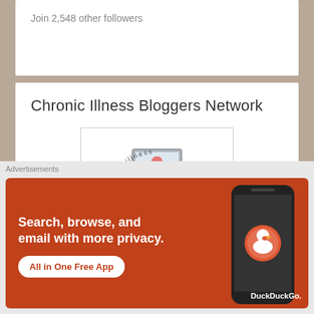Join 2,548 other followers
Chronic Illness Bloggers Network
[Figure (logo): Chronic Illness Bloggers Network logo: circular text 'chronic illness' around top, script text 'bloggers network' in center with laptop icon, 'chronicilnessbloggers.com' below, green 'proud member' banner at bottom]
Member since 2016.
Advertisements
[Figure (screenshot): DuckDuckGo advertisement banner: orange/red background, white bold text 'Search, browse, and email with more privacy.' with white button 'All in One Free App', smartphone on right side with DuckDuckGo logo]